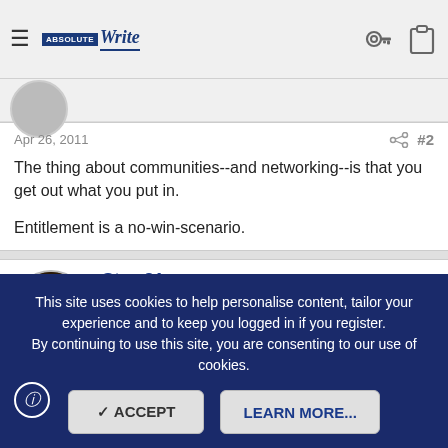AbsoluteWrite logo, hamburger menu, key icon, clipboard icon
Apr 26, 2011
The thing about communities--and networking--is that you get out what you put in.

Entitlement is a no-win-scenario.
Stew21
Super Member  Registered
Joined: Mar 2, 2006  Messages: 27,651
This site uses cookies to help personalise content, tailor your experience and to keep you logged in if you register.
By continuing to use this site, you are consenting to our use of cookies.
ACCEPT  LEARN MORE...